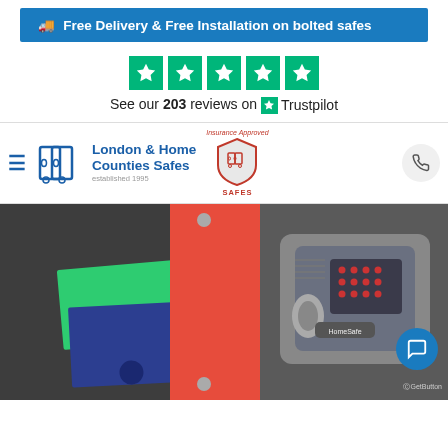🚚 Free Delivery & Free Installation on bolted safes
[Figure (logo): Five green Trustpilot stars rating]
See our 203 reviews on Trustpilot
[Figure (logo): London & Home Counties Safes logo with Insurance Approved Safes badge]
[Figure (photo): Open grey metal HomeSafe digital safe with coloured file folders inside, keypad visible on door]